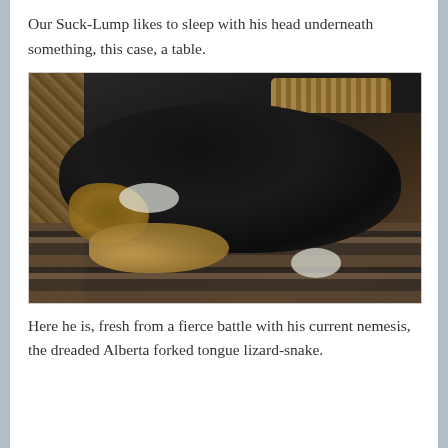Our Suck-Lump likes to sleep with his head underneath something, this case, a table.
[Figure (photo): A fluffy black, tan, and white dog (Bernese Mountain Dog puppy) sleeping curled up on a striped rug, with its head tucked underneath a table. A wicker chair is visible on the left side.]
Here he is, fresh from a fierce battle with his current nemesis, the dreaded Alberta forked tongue lizard-snake.